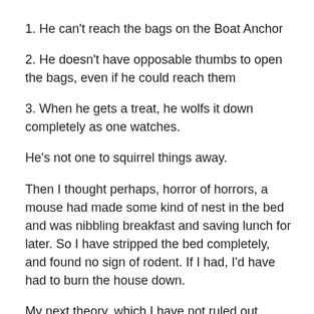1. He can’t reach the bags on the Boat Anchor
2. He doesn’t have opposable thumbs to open the bags, even if he could reach them
3. When he gets a treat, he wolfs it down completely as one watches.
He’s not one to squirrel things away.
Then I thought perhaps, horror of horrors, a mouse had made some kind of nest in the bed and was nibbling breakfast and saving lunch for later. So I have stripped the bed completely, and found no sign of rodent. If I had, I’d have had to burn the house down.
My next theory, which I have not ruled out, though no doubt most of you will, is that the house spirits are leaving